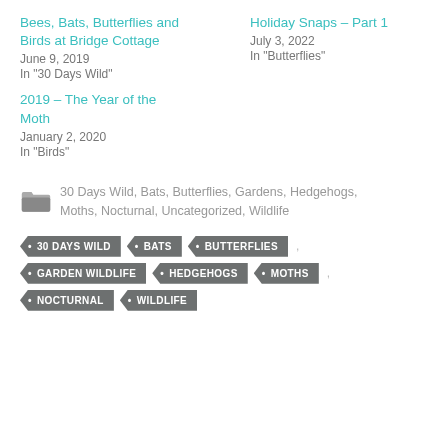Bees, Bats, Butterflies and Birds at Bridge Cottage
June 9, 2019
In "30 Days Wild"
Holiday Snaps – Part 1
July 3, 2022
In "Butterflies"
2019 – The Year of the Moth
January 2, 2020
In "Birds"
30 Days Wild, Bats, Butterflies, Gardens, Hedgehogs, Moths, Nocturnal, Uncategorized, Wildlife
• 30 DAYS WILD
• BATS
• BUTTERFLIES
• GARDEN WILDLIFE
• HEDGEHOGS
• MOTHS
• NOCTURNAL
• WILDLIFE